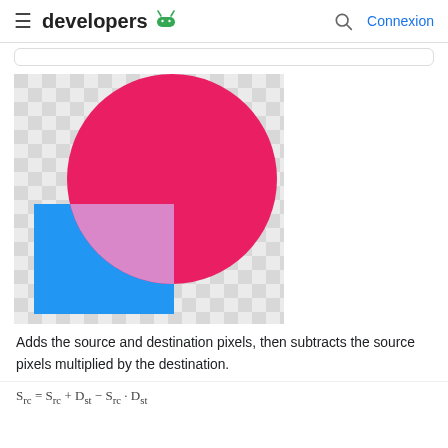≡ developers 🤖   🔍 Connexion
[Figure (illustration): Checkerboard transparency background with a large hot-pink/crimson circle (destination) overlapping a blue rectangle (source). Where they overlap, the quarter-circle intersection area is rendered in light lavender/pink, showing the Porter-Duff 'Screen' or 'Plus' blending mode effect.]
Adds the source and destination pixels, then subtracts the source pixels multiplied by the destination.